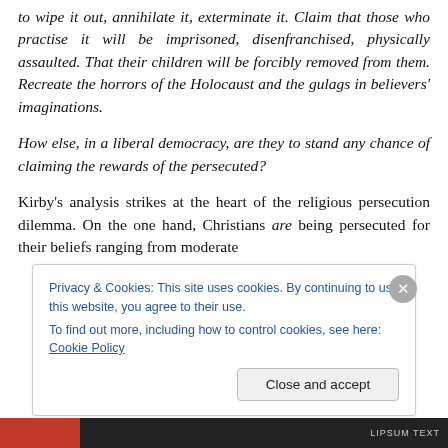to wipe it out, annihilate it, exterminate it. Claim that those who practise it will be imprisoned, disenfranchised, physically assaulted. That their children will be forcibly removed from them. Recreate the horrors of the Holocaust and the gulags in believers' imaginations.
How else, in a liberal democracy, are they to stand any chance of claiming the rewards of the persecuted?
Kirby's analysis strikes at the heart of the religious persecution dilemma. On the one hand, Christians are being persecuted for their beliefs ranging from moderate
Privacy & Cookies: This site uses cookies. By continuing to use this website, you agree to their use.
To find out more, including how to control cookies, see here: Cookie Policy
Close and accept